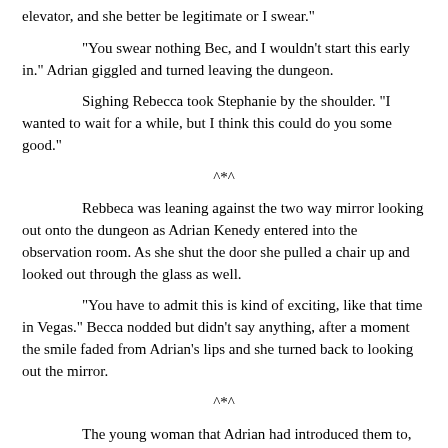elevator, and she better be legitimate or I swear."
"You swear nothing Bec, and I wouldn't start this early in." Adrian giggled and turned leaving the dungeon.
Sighing Rebecca took Stephanie by the shoulder. "I wanted to wait for a while, but I think this could do you some good."
^*^
Rebbeca was leaning against the two way mirror looking out onto the dungeon as Adrian Kenedy entered into the observation room. As she shut the door she pulled a chair up and looked out through the glass as well.
"You have to admit this is kind of exciting, like that time in Vegas." Becca nodded but didn't say anything, after a moment the smile faded from Adrian's lips and she turned back to looking out the mirror.
^*^
The young woman that Adrian had introduced them to, Maxine, sat on the bed, trying to keep her breathing as level as she could. Stephanie glanced over her shoulder to the mirror she knew